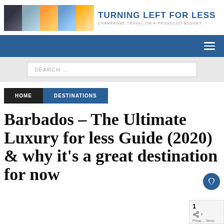[Figure (logo): Turning Left For Less blog logo with travel photos and site title]
[Figure (screenshot): Blue navigation bar with hamburger menu icon]
[Figure (screenshot): Search box with placeholder text SEARCH ...]
HOME   DESTINATIONS
Barbados – The Ultimate Luxury for less Guide (2020) & why it's a great destination for now